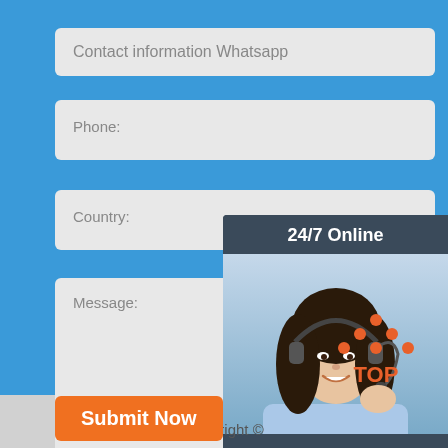Contact information Whatsapp
Phone:
Country:
Message:
[Figure (photo): Customer service agent woman with headset smiling, with overlay text '24/7 Online' and 'Click here for free chat!' and a QUOTATION button]
Submit Now
[Figure (logo): TOP logo with orange dots arranged in triangle above orange text TOP]
Copyright ©